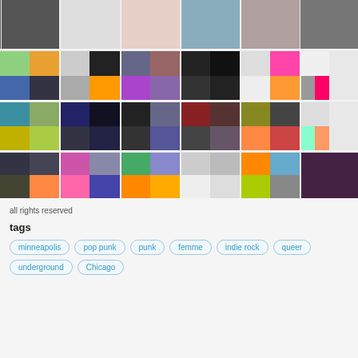[Figure (photo): Grid of music album artwork arranged in 4 rows of 6 columns each, showing various album covers with diverse colors and styles]
all rights reserved
tags
minneapolis
pop punk
punk
femme
indie rock
queer
underground
Chicago